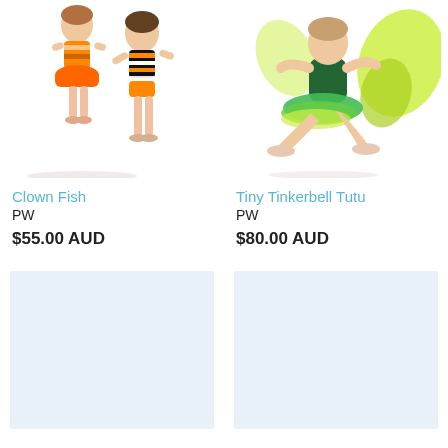[Figure (photo): Two young girls wearing orange and black/white striped clown fish dance costumes, standing pose]
Clown Fish
PW
$55.00 AUD
[Figure (photo): Young girl in green and yellow fairy/Tinkerbell tutu costume, seated pose with wings]
Tiny Tinkerbell Tutu
PW
$80.00 AUD
[Figure (photo): Light blue placeholder image box]
[Figure (photo): Light blue placeholder image box]